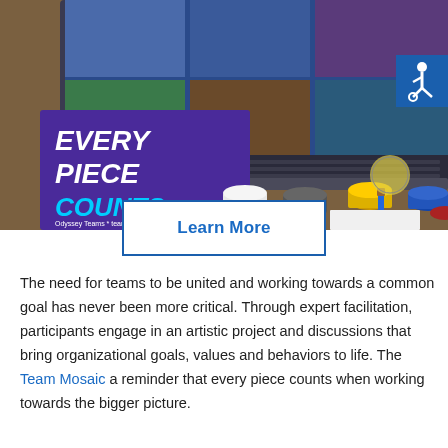[Figure (photo): Photo of a desk with paint pots, a laptop showing a video call, paint brushes, and a purple sign reading 'Every Piece Counts' with Odyssey Teams / teammosaic.com branding. A blue square with a wheelchair accessibility icon appears in the top right.]
Learn More
The need for teams to be united and working towards a common goal has never been more critical. Through expert facilitation, participants engage in an artistic project and discussions that bring organizational goals, values and behaviors to life. The Team Mosaic a reminder that every piece counts when working towards the bigger picture.